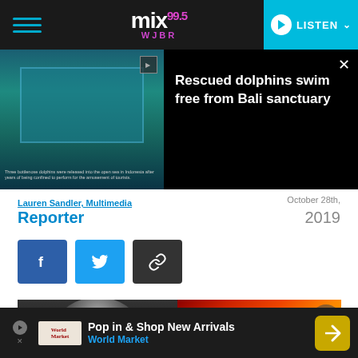mix99.5 WJBR — LISTEN
[Figure (screenshot): Video thumbnail showing rescued dolphins with caption about bottlenose dolphins released into open sea in Indonesia]
Rescued dolphins swim free from Bali sanctuary
Three bottlenose dolphins were released into the open sea in Indonesia after years of being confined to perform for the amusement of tourists.
Reporter
2019
[Figure (photo): Band performance photo split: left side shows person with messy hair in dark setting, right side shows golden orb/sphere in warm red/orange stage lighting]
Pop in & Shop New Arrivals
World Market